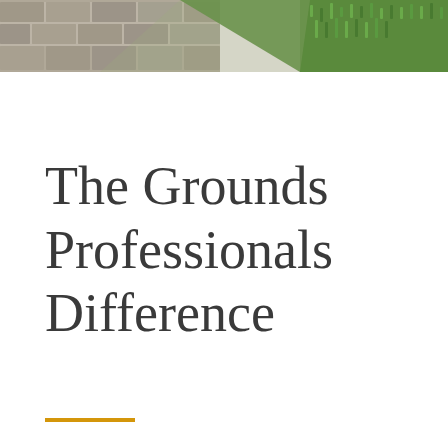[Figure (photo): Outdoor photo strip showing brick/stone pavement on the left side and green grass lawn on the right side, photographed from above at an angle.]
The Grounds Professionals Difference